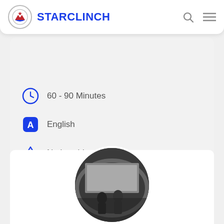STARCLINCH
60 - 90 Minutes
English
Nationwide
Mumbai
Book Now
[Figure (photo): Black and white circular photo of two people on a stage with a large screen or backdrop behind them]